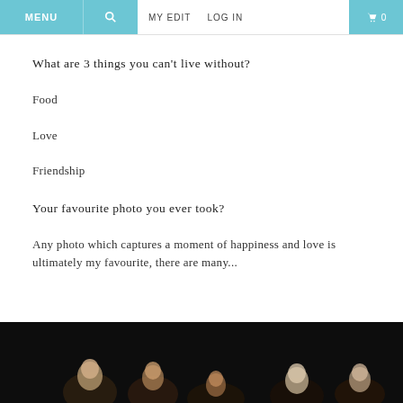MENU | [search] | MY EDIT | LOG IN | [cart] 0
What are 3 things you can't live without?
Food
Love
Friendship
Your favourite photo you ever took?
Any photo which captures a moment of happiness and love is ultimately my favourite, there are many...
[Figure (photo): Dark photograph showing a group of people, partially visible at bottom of page, faces illuminated against a dark background]